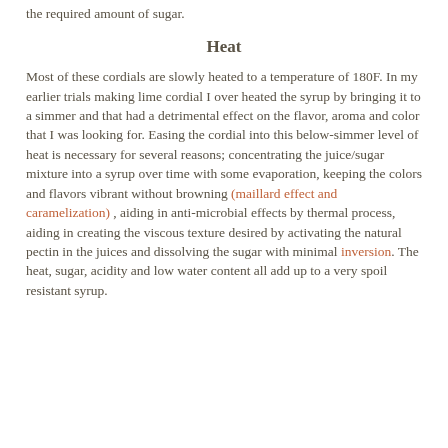the required amount of sugar.
Heat
Most of these cordials are slowly heated to a temperature of 180F. In my earlier trials making lime cordial I over heated the syrup by bringing it to a simmer and that had a detrimental effect on the flavor, aroma and color that I was looking for. Easing the cordial into this below-simmer level of heat is necessary for several reasons; concentrating the juice/sugar mixture into a syrup over time with some evaporation, keeping the colors and flavors vibrant without browning (maillard effect and caramelization) , aiding in anti-microbial effects by thermal process, aiding in creating the viscous texture desired by activating the natural pectin in the juices and dissolving the sugar with minimal inversion. The heat, sugar, acidity and low water content all add up to a very spoil resistant syrup.